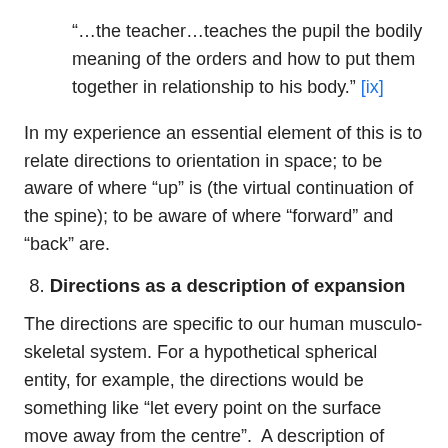“…the teacher…teaches the pupil the bodily meaning of the orders and how to put them together in relationship to his body.” [ix]
In my experience an essential element of this is to relate directions to orientation in space; to be aware of where “up” is (the virtual continuation of the spine); to be aware of where “forward” and “back” are.
8. Directions as a description of expansion
The directions are specific to our human musculo-skeletal system. For a hypothetical spherical entity, for example, the directions would be something like “let every point on the surface move away from the centre”.  A description of what happens when the human musculo-skeletal frame expands is that the head tends to go forward and up, the